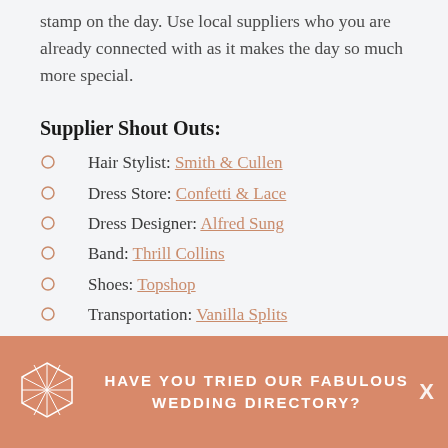stamp on the day. Use local suppliers who you are already connected with as it makes the day so much more special.
Supplier Shout Outs:
Hair Stylist: Smith & Cullen
Dress Store: Confetti & Lace
Dress Designer: Alfred Sung
Band: Thrill Collins
Shoes: Topshop
Transportation: Vanilla Splits
HAVE YOU TRIED OUR FABULOUS WEDDING DIRECTORY?